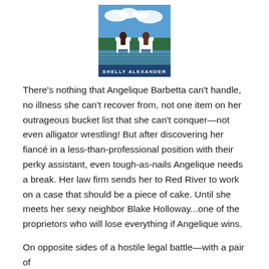[Figure (photo): Book cover for a novel by Shelly Alexander showing two people sitting in white Adirondack chairs by a lake with mountains and blue sky in the background. The author name 'SHELLY ALEXANDER' appears at the bottom of the cover.]
There's nothing that Angelique Barbetta can't handle, no illness she can't recover from, not one item on her outrageous bucket list that she can't conquer—not even alligator wrestling! But after discovering her fiancé in a less-than-professional position with their perky assistant, even tough-as-nails Angelique needs a break. Her law firm sends her to Red River to work on a case that should be a piece of cake. Until she meets her sexy neighbor Blake Holloway...one of the proprietors who will lose everything if Angelique wins.
On opposite sides of a hostile legal battle—with a pair of